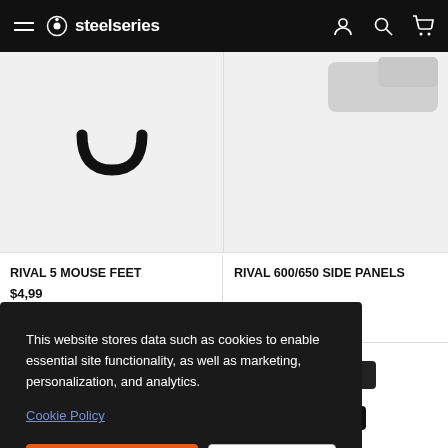steelseries - navigation bar
[Figure (photo): Mouse feet product image - left card, shows U-shaped mouse feet on light gray background]
RIVAL 5 MOUSE FEET
$4,99
[Figure (photo): Rival 600/650 side panels product image - right card, shows product on light gray background]
RIVAL 600/650 SIDE PANELS
This website stores data such as cookies to enable essential site functionality, as well as marketing, personalization, and analytics.
Cookie Policy
Accept
Deny
[Figure (photo): USB cable product image - bottom right, shows black USB connector cables]